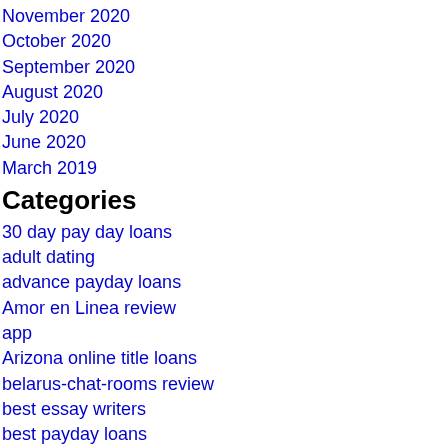November 2020
October 2020
September 2020
August 2020
July 2020
June 2020
March 2019
Categories
30 day pay day loans
adult dating
advance payday loans
Amor en Linea review
app
Arizona online title loans
belarus-chat-rooms review
best essay writers
best payday loans
biggercity review
blendr review